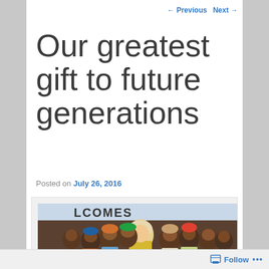← Previous   Next →
Our greatest gift to future generations
Posted on July 26, 2016
[Figure (photo): A smiling blonde woman in a yellow shirt surrounded by a group of African children, standing in front of a banner with partial text visible.]
Follow